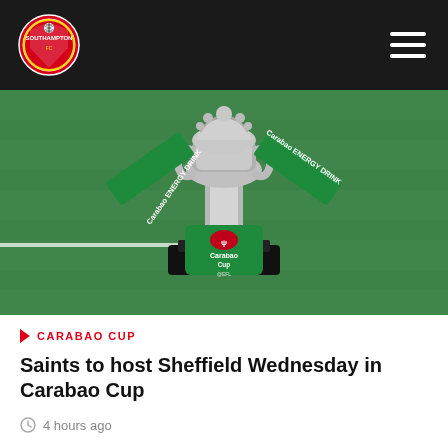Southampton FC
[Figure (photo): Carabao Cup trophy on a football pitch with green sashes reading 'Carabao Energy Drink' and the Carabao Cup logo on the front]
CARABAO CUP
Saints to host Sheffield Wednesday in Carabao Cup
4 hours ago